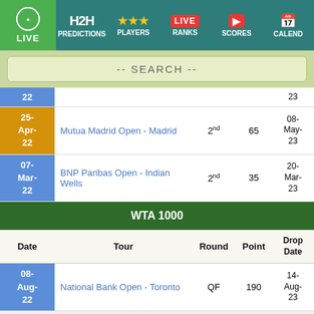LIVE | H2H PREDICTIONS | PLAYERS | RANKS | SCORES | CALEND
-- SEARCH --
| Date | Tour | Round | Point | Drop Date |
| --- | --- | --- | --- | --- |
| 22 |  |  |  | 23 |
| 25-Apr-22 | Mutua Madrid Open - Madrid | 2nd | 65 | 08-May-23 |
| 07-Mar-22 | BNP Paribas Open - Indian Wells | 2nd | 35 | 20-Mar-23 |
| WTA 1000 |  |  |  |  |
| Date | Tour | Round | Point | Drop Date |
| 08-Aug-22 | National Bank Open - Toronto | QF | 190 | 14-Aug-23 |